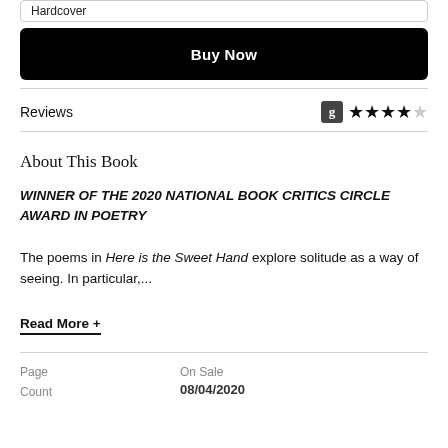Hardcover
Buy Now
Reviews
About This Book
WINNER OF THE 2020 NATIONAL BOOK CRITICS CIRCLE AWARD IN POETRY
The poems in Here is the Sweet Hand explore solitude as a way of seeing. In particular,...
Read More +
| Page Count | On Sale |
| --- | --- |
|  | 08/04/2020 |